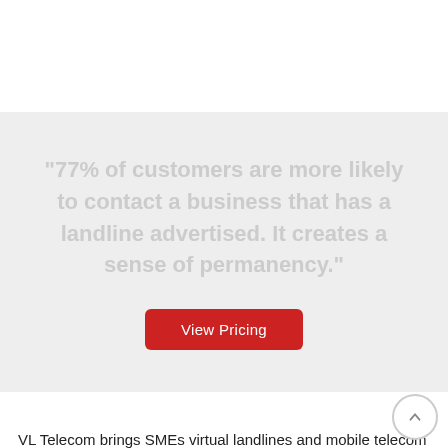"77% of customers are more likely to contact a business that has a landline advertised. It creates a sense of permanency."
[Figure (other): Red 'View Pricing' button on gray background]
VL Telecom brings SMEs virtual landlines and mobile telecom